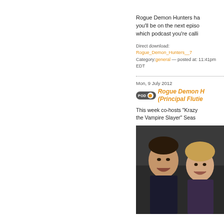Rogue Demon Hunters have you'll be on the next episo which podcast you're calli
Direct download: Rogue_Demon_Hunters__7 Category:general — posted at: 11:41pm EDT
Mon, 9 July 2012
Rogue Demon H (Principal Flutie
This week co-hosts "Krazy the Vampire Slayer" Seas
[Figure (photo): Screenshot from a TV show or film showing two people, a man and a woman, smiling/laughing in a dark setting.]